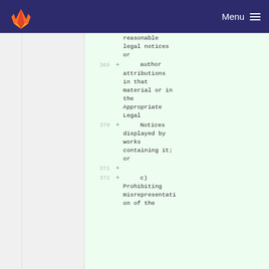Menu
reasonable legal notices or
369 +     author attributions in that material or in the Appropriate Legal
370 +     Notices displayed by works containing it; or
371 +
372 +     c) Prohibiting misrepresentation of the